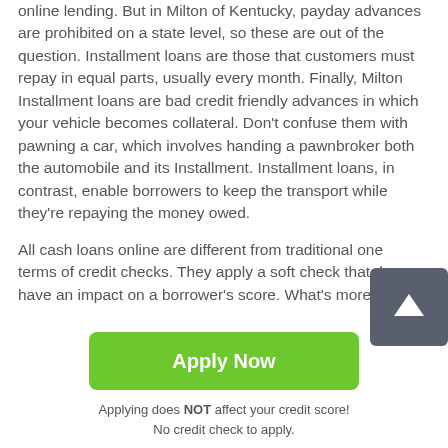online lending. But in Milton of Kentucky, payday advances are prohibited on a state level, so these are out of the question. Installment loans are those that customers must repay in equal parts, usually every month. Finally, Milton Installment loans are bad credit friendly advances in which your vehicle becomes collateral. Don't confuse them with pawning a car, which involves handing a pawnbroker both the automobile and its Installment. Installment loans, in contrast, enable borrowers to keep the transport while they're repaying the money owed.
All cash loans online are different from traditional ones in terms of credit checks. They apply a soft check that doesn't have an impact on a borrower's score. What's more, lending
[Figure (other): Scroll-to-top button with upward arrow icon on dark grey background]
Apply Now
Applying does NOT affect your credit score!
No credit check to apply.